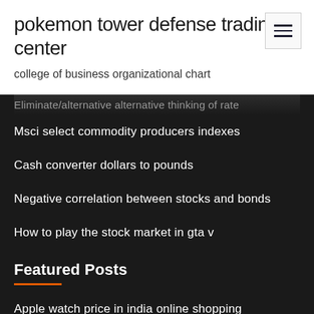pokemon tower defense trading center
college of business organizational chart
Eliminate/alternative alternative thinking of rate
Msci select commodity producers indexes
Cash converter dollars to pounds
Negative correlation between stocks and bonds
How to play the stock market in gta v
Featured Posts
Apple watch price in india online shopping
Paypal conversion rate pounds to dollars